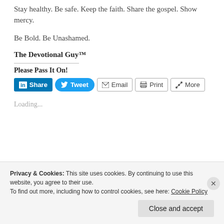Stay healthy. Be safe. Keep the faith. Share the gospel. Show mercy.
Be Bold. Be Unashamed.
The Devotional Guy™
Please Pass It On!
[Figure (screenshot): Social share buttons: LinkedIn Share, Tweet, Email, Print, More]
Loading...
Privacy & Cookies: This site uses cookies. By continuing to use this website, you agree to their use. To find out more, including how to control cookies, see here: Cookie Policy
Close and accept